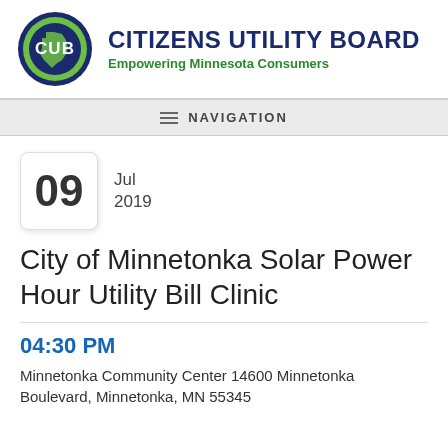[Figure (logo): Citizens Utility Board logo: circular green and blue badge with CUB text and Minnesota state outline, followed by organization name and tagline]
NAVIGATION
09  Jul 2019
City of Minnetonka Solar Power Hour Utility Bill Clinic
04:30 PM
Minnetonka Community Center 14600 Minnetonka Boulevard, Minnetonka, MN 55345